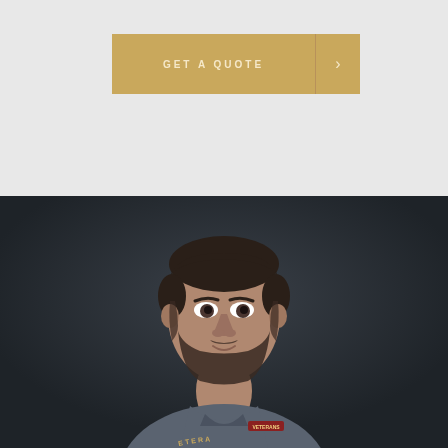[Figure (other): A gold/tan colored call-to-action button with text GET A QUOTE and a right-arrow chevron on a light gray background]
[Figure (photo): Portrait photo of a man with short dark hair and beard wearing a gray polo shirt with a Veterans logo, photographed against a dark charcoal background]